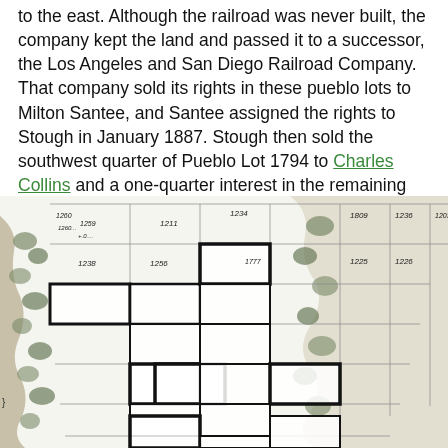to the east. Although the railroad was never built, the company kept the land and passed it to a successor, the Los Angeles and San Diego Railroad Company. That company sold its rights in these pueblo lots to Milton Santee, and Santee assigned the rights to Stough in January 1887. Stough then sold the southwest quarter of Pueblo Lot 1794 to Charles Collins and a one-quarter interest in the remaining property to O. S. Hubbell.
[Figure (map): Historical land survey map showing pueblo lots numbered in the 1700s and 1800s range (1773, 1775, 1784, 1789, 1792, 1779, 1780, 1785, 1786, 1790, 1781, 1796, 1795, 1776, 1774, 1256, 1238, 1239, 1260, 1203, 1211, 1234, 1223, 1226, 1225, 1224, 1809, 1808, 1238, 1239). Bold outlines highlight specific parcels. Vegetation and topographic features shown along coastal/river edges.]